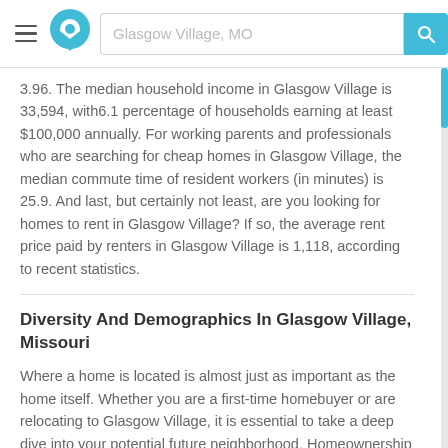Glasgow Village, MO
3.96. The median household income in Glasgow Village is 33,594, with6.1 percentage of households earning at least $100,000 annually. For working parents and professionals who are searching for cheap homes in Glasgow Village, the median commute time of resident workers (in minutes) is 25.9. And last, but certainly not least, are you looking for homes to rent in Glasgow Village? If so, the average rent price paid by renters in Glasgow Village is 1,118, according to recent statistics.
Diversity And Demographics In Glasgow Village, Missouri
Where a home is located is almost just as important as the home itself. Whether you are a first-time homebuyer or are relocating to Glasgow Village, it is essential to take a deep dive into your potential future neighborhood. Homeownership is often a long-term relationship; therefore, be sure to do your due diligence to ensure that you make the best long-term decision.
The median age of residents in Glasgow Village is 20.8, split